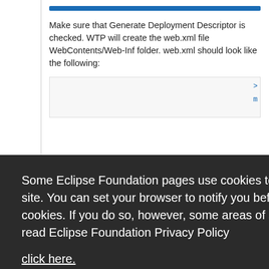Make sure that Generate Deployment Descriptor is checked. WTP will create the web.xml file WebContents/Web-Inf folder. web.xml should look like the following:
[Figure (screenshot): Partial code snippet visible behind cookie overlay, showing XML/HTML code lines in blue monospace font]
Some Eclipse Foundation pages use cookies to better serve you when you return to the site. You can set your browser to notify you before you receive a cookie or turn off cookies. If you do so, however, some areas of some sites may not function properly. To read Eclipse Foundation Privacy Policy click here.
Decline  Allow cookies
[Figure (screenshot): Bottom partial code snippet showing <body> tag in monospace font]